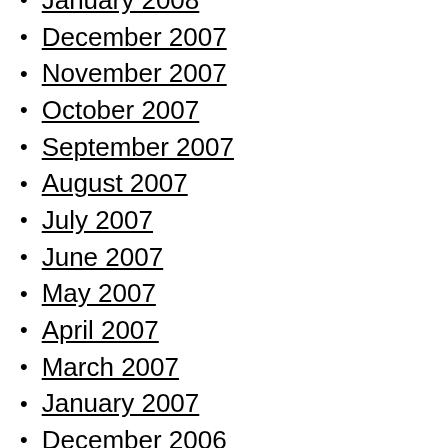January 2008
December 2007
November 2007
October 2007
September 2007
August 2007
July 2007
June 2007
May 2007
April 2007
March 2007
January 2007
December 2006
October 2006
August 2006
April 2006